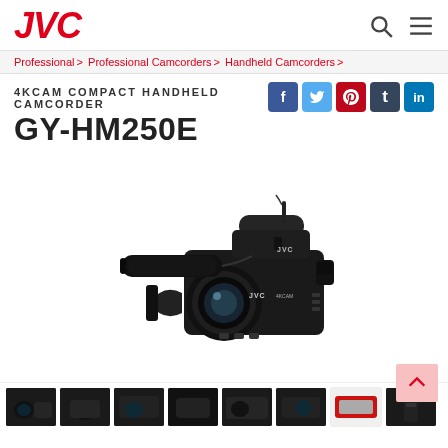JVC
Professional > Professional Camcorders > Handheld Camcorders >
4KCAM COMPACT HANDHELD CAMCORDER
GY-HM250E
[Figure (photo): JVC GY-HM250E 4KCAM compact handheld camcorder shown from front-left angle with microphone attached and JVC branding visible]
[Figure (photo): Thumbnail strip showing 8 small images of the GY-HM250E camcorder from various angles]